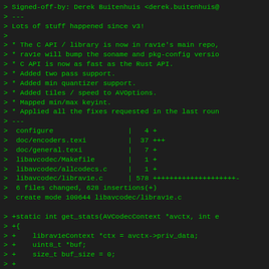> Signed-off-by: Derek Buitenhuis <derek.buitenhuis@...
> ---
> Lots of stuff happened since v3!
>
> * The C API / library is now in rav1e's main repo,
> * rav1e will bump the soname and pkg-config versio
> * C API is now as fast as the Rust API.
> * Added two pass support.
> * Added min quantizer support.
> * Added tiles / speed to AVOptions.
> * Mapped min/max keyint.
> * Applied all the fixes requested in the last roun
> ---
>  configure                  |   4 +
>  doc/encoders.texi          |  37 +++
>  doc/general.texi           |   7 +
>  libavcodec/Makefile        |   1 +
>  libavcodec/allcodecs.c     |   1 +
>  libavcodec/librav1e.c      | 578 +++++++++++++++++++-
>  6 files changed, 628 insertions(+)
>  create mode 100644 libavcodec/librav1e.c
>
> +static int get_stats(AVCodecContext *avctx, int e
> +{
> +    librav1eContext *ctx = avctx->priv_data;
> +    uint8_t *buf;
> +    size_t buf_size = 0;
> +
> +    buf = rav1e_twopass_out(ctx->ctx, &buf_size);
> +    if (!buf)
> +        return 0;